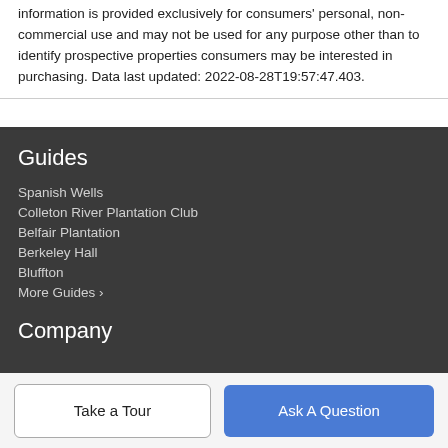information is provided exclusively for consumers' personal, non-commercial use and may not be used for any purpose other than to identify prospective properties consumers may be interested in purchasing. Data last updated: 2022-08-28T19:57:47.403.
Guides
Spanish Wells
Colleton River Plantation Club
Belfair Plantation
Berkeley Hall
Bluffton
More Guides >
Company